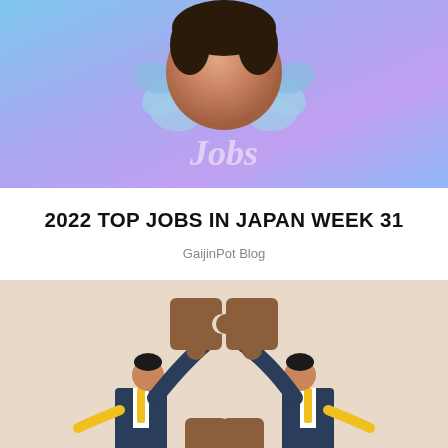[Figure (illustration): Decorative header image with gradient blue-purple background showing a person with flowers]
2022 TOP JOBS IN JAPAN WEEK 31
GaijinPot Blog
[Figure (illustration): Two businessmen in suits holding large brown puzzle pieces together against a beige background]